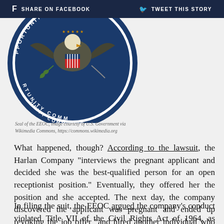f SHARE ON FACEBOOK   ✓ TWEET THIS STORY
[Figure (logo): Partial view of the EEOC (Equal Employment Opportunity Commission) official seal, showing an eagle and decorative elements in blue and red on a circular seal]
Seal of the EEOC, image courtesy of U.S. Government via Wikimedia Commons, https://commons.wikimedia.org
What happened, though? According to the lawsuit, the Harlan Company “interviews the pregnant applicant and decided she was the best-qualified person for an open receptionist position.” Eventually, they offered her the position and she accepted. The next day, the company discovered the applicant was pregnant and ended up revoking the job offer “and hired another individual who was not pregnant.”
In filing the suit, the EEOC argued the company’s conduct violated Title VII of the Civil Rights Act of 1964, as amended by the Pregnancy Discrimination Act. Prior